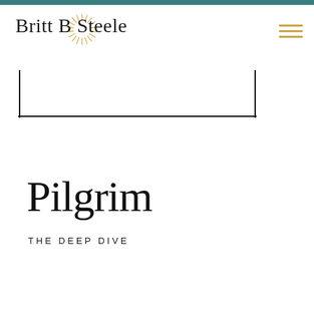Britt B Steele
[Figure (screenshot): Search or input box outline (L-shape bracket style) in the header area]
Pilgrim
THE DEEP DIVE